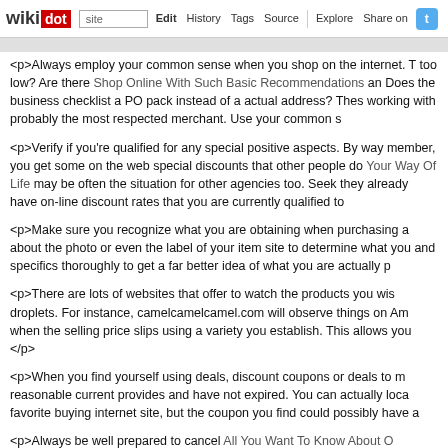wikidot | site | Edit | History | Tags | Source | Explore | Share on [Twitter]
<p>Always employ your common sense when you shop on the internet. T too low? Are there Shop Online With Such Basic Recommendations an Does the business checklist a PO pack instead of a actual address? Thes working with probably the most respected merchant. Use your common s
<p>Verify if you're qualified for any special positive aspects. By way member, you get some on the web special discounts that other people do Your Way Of Life may be often the situation for other agencies too. Seek they already have on-line discount rates that you are currently qualified to
<p>Make sure you recognize what you are obtaining when purchasing a about the photo or even the label of your item site to determine what you and specifics thoroughly to get a far better idea of what you are actually p
<p>There are lots of websites that offer to watch the products you wis droplets. For instance, camelcamelcamel.com will observe things on Am when the selling price slips using a variety you establish. This allows you </p>
<p>When you find yourself using deals, discount coupons or deals to m reasonable current provides and have not expired. You can actually loca favorite buying internet site, but the coupon you find could possibly have a
<p>Always be well prepared to cancel All You Want To Know About O becoming overly excited about a certain item since this may lead you company is a scam. Look at the fine print to hold your self resistant to sca
<p>When you are able to start saving cash by shopping online, because